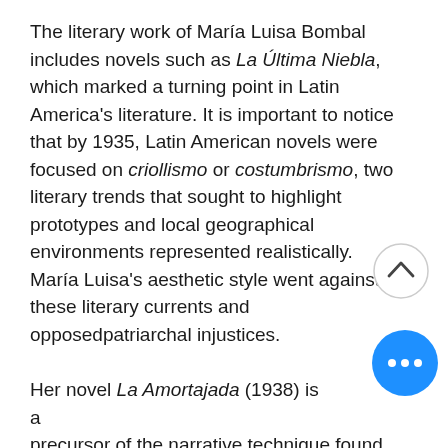The literary work of María Luisa Bombal includes novels such as La Última Niebla, which marked a turning point in Latin America's literature. It is important to notice that by 1935, Latin American novels were focused on criollismo or costumbrismo, two literary trends that sought to highlight prototypes and local geographical environments represented realistically. María Luisa's aesthetic style went against these literary currents and opposedpatriarchal injustices.

Her novel La Amortajada (1938) is a precursor of the narrative technique found in the famous short novel by Mexican writer Juan Rulfo, Pedro Páramo (1955).